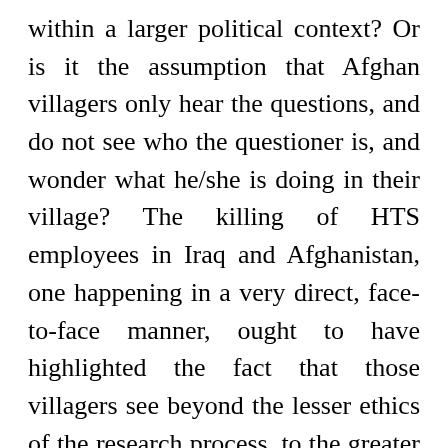within a larger political context? Or is it the assumption that Afghan villagers only hear the questions, and do not see who the questioner is, and wonder what he/she is doing in their village? The killing of HTS employees in Iraq and Afghanistan, one happening in a very direct, face-to-face manner, ought to have highlighted the fact that those villagers see beyond the lesser ethics of the research process, to the greater ethics of the context that deploys researchers against them. It's not just research, and certainly not “humanitarianism,” when it comes in the form of a heavily armed